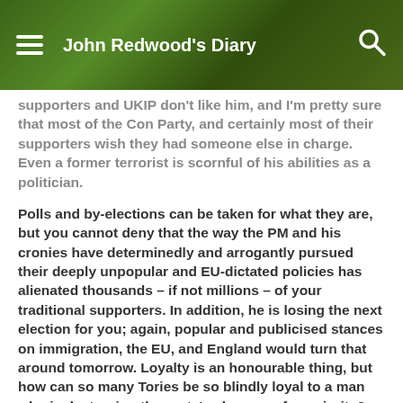John Redwood's Diary
supporters and UKIP don't like him, and I'm pretty sure that most of the Con Party, and certainly most of their supporters wish they had someone else in charge. Even a former terrorist is scornful of his abilities as a politician.
Polls and by-elections can be taken for what they are, but you cannot deny that the way the PM and his cronies have determinedly and arrogantly pursued their deeply unpopular and EU-dictated policies has alienated thousands – if not millions – of your traditional supporters. In addition, he is losing the next election for you; again, popular and publicised stances on immigration, the EU, and England would turn that around tomorrow. Loyalty is an honourable thing, but how can so many Tories be so blindly loyal to a man who is destroying the party's chances of a majority?